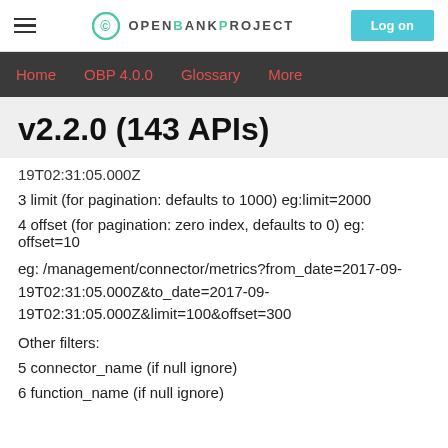OPENBANKPROJECT | Log on
Home | OBP 4.0.0 | Glossary | More
v2.2.0 (143 APIs)
19T02:31:05.000Z
3 limit (for pagination: defaults to 1000) eg:limit=2000
4 offset (for pagination: zero index, defaults to 0) eg: offset=10
eg: /management/connector/metrics?from_date=2017-09-19T02:31:05.000Z&to_date=2017-09-19T02:31:05.000Z&limit=100&offset=300
Other filters:
5 connector_name (if null ignore)
6 function_name (if null ignore)